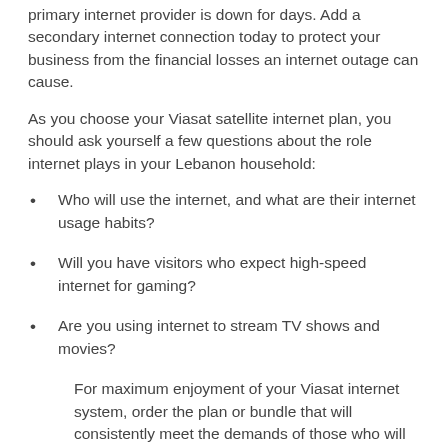primary internet provider is down for days. Add a secondary internet connection today to protect your business from the financial losses an internet outage can cause.
As you choose your Viasat satellite internet plan, you should ask yourself a few questions about the role internet plays in your Lebanon household:
Who will use the internet, and what are their internet usage habits?
Will you have visitors who expect high-speed internet for gaming?
Are you using internet to stream TV shows and movies?
For maximum enjoyment of your Viasat internet system, order the plan or bundle that will consistently meet the demands of those who will use it most.
GetViasat Internet cost and reviews. Then call us to